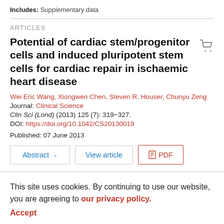Includes: Supplementary data
ARTICLES
Potential of cardiac stem/progenitor cells and induced pluripotent stem cells for cardiac repair in ischaemic heart disease
Wei Eric Wang, Xiongwen Chen, Steven R. Houser, Chunyu Zeng
Journal: Clinical Science
Clin Sci (Lond) (2013) 125 (7): 319–327.
DOI: https://doi.org/10.1042/CS20130019
Published: 07 June 2013
Abstract | View article | PDF
This site uses cookies. By continuing to use our website, you are agreeing to our privacy policy. Accept